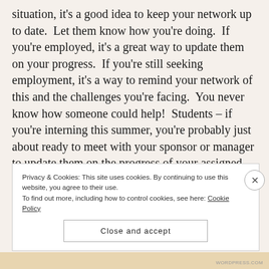situation, it's a good idea to keep your network up to date.  Let them know how you're doing.  If you're employed, it's a great way to update them on your progress.  If you're still seeking employment, it's a way to remind your network of this and the challenges you're facing.  You never know how someone could help!  Students – if you're interning this summer, you're probably just about ready to meet with your sponsor or manager to update them on the progress of your assigned
Privacy & Cookies: This site uses cookies. By continuing to use this website, you agree to their use.
To find out more, including how to control cookies, see here: Cookie Policy
Close and accept